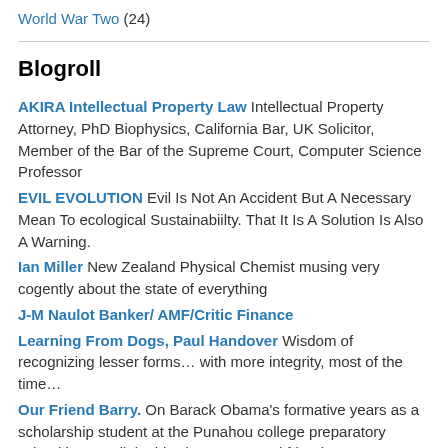World War Two (24)
Blogroll
AKIRA Intellectual Property Law Intellectual Property Attorney, PhD Biophysics, California Bar, UK Solicitor, Member of the Bar of the Supreme Court, Computer Science Professor
EVIL EVOLUTION Evil Is Not An Accident But A Necessary Mean To ecological Sustainabiilty. That It Is A Solution Is Also A Warning.
Ian Miller New Zealand Physical Chemist musing very cogently about the state of everything
J-M Naulot Banker/ AMF/Critic Finance
Learning From Dogs, Paul Handover Wisdom of recognizing lesser forms… with more integrity, most of the time…
Our Friend Barry. On Barack Obama's formative years as a scholarship student at the Punahou college preparatory school in Hawaii, by his classmates and friends.
PAN TERRA: TYRANOSOPHER's SHORT POSTS. Philosophical Rapid Reaction Force.